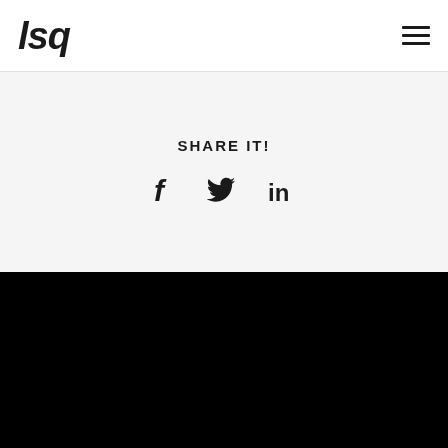lsq
SHARE IT!
[Figure (other): Social share icons: Facebook (f), Twitter (bird), LinkedIn (in)]
[Figure (other): Black footer background section]